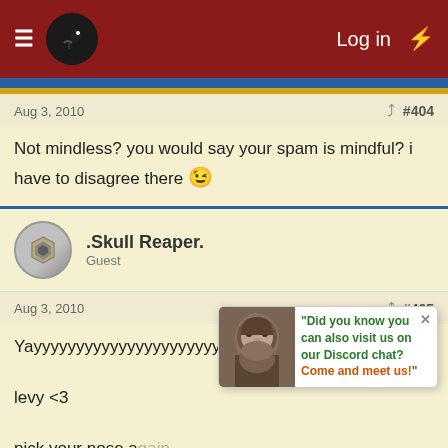Forum navigation bar with logo, Log in, and lightning bolt icon
Aug 3, 2010  #404
Not mindless? you would say your spam is mindful? i have to disagree there 😉
.Skull Reaper. Guest
Aug 3, 2010  #405
Yyyyyyyyyyyyyyyyyyyyyy!

levy <3

pick your nose a
GooglyEyes123 Guest
Did you know you can also visit us on our Discord chat? Come and meet us!